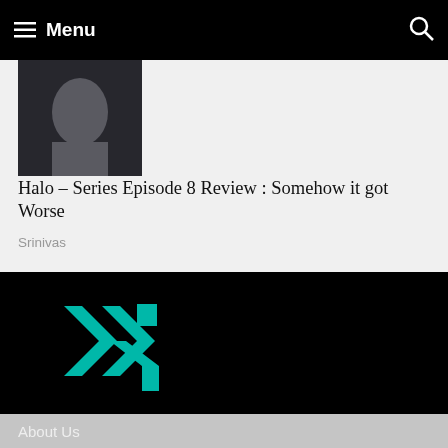≡ Menu
[Figure (photo): Partial face/person photo thumbnail, dark tones]
Halo – Series Episode 8 Review : Somehow it got Worse
Srinivas
[Figure (logo): Teal geometric angular logo mark on black background]
About Us